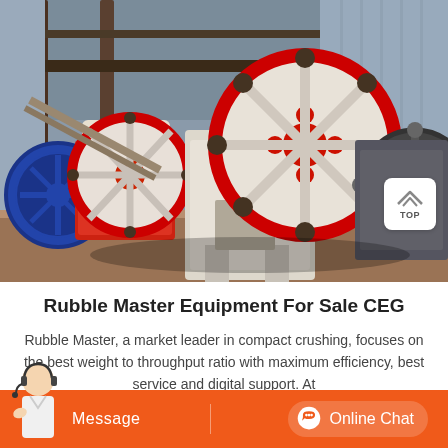[Figure (photo): Industrial jaw crusher machinery with large red-rimmed flywheels and red/white body, photographed outdoors in an industrial setting. Two large circular flywheels with spoked design are prominently visible, along with a blue wheel on the left. The machinery sits on what appears to be a metal platform.]
Rubble Master Equipment For Sale CEG
Rubble Master, a market leader in compact crushing, focuses on the best weight to throughput ratio with maximum efficiency, best service and digital support. At